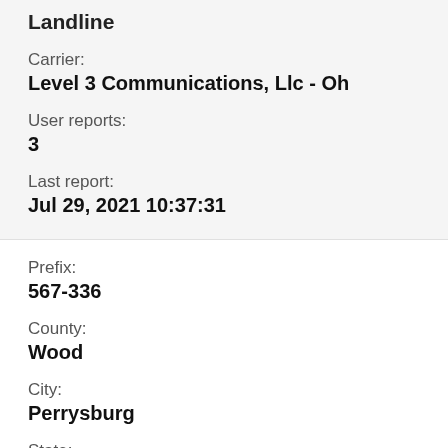Landline
Carrier:
Level 3 Communications, Llc - Oh
User reports:
3
Last report:
Jul 29, 2021 10:37:31
Prefix:
567-336
County:
Wood
City:
Perrysburg
State:
Ohio